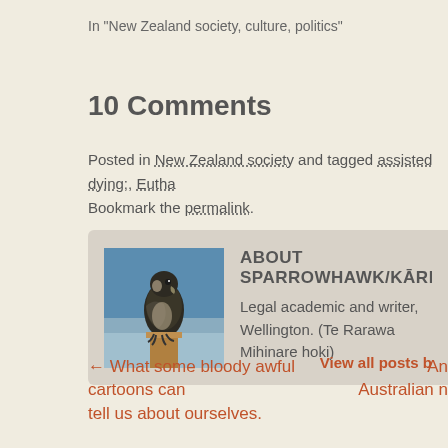In "New Zealand society, culture, politics"
10 Comments
Posted in New Zealand society and tagged assisted dying;, Eutha... Bookmark the permalink.
[Figure (photo): Author avatar showing a sparrowhawk bird perched on a post against a blue sky background]
ABOUT SPARROWHAWK/KĀREAREA
Legal academic and writer, Wellington. (Te Rarawa... Mihinare hoki)
View all posts b
← What some bloody awful cartoons can tell us about ourselves.
An Australian n